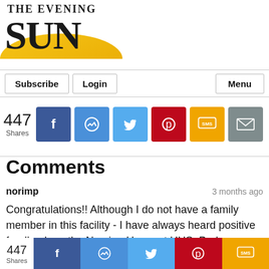[Figure (logo): The Evening Sun newspaper logo with large bold SUN text over a golden arc/sunrise graphic]
[Figure (screenshot): Navigation bar with Subscribe, Login, and Menu buttons]
[Figure (infographic): Social share bar showing 447 Shares with Facebook, Messenger, Twitter, Pinterest, SMS, and Email buttons]
Comments
norimp   3 months ago
Congratulations!! Although I do not have a family member in this facility - I have always heard positive feedback on the Nursing Home at UHS. Perhaps other nursing facilities in the are should reach out to obtain
[Figure (infographic): Bottom social share bar showing 447 Shares with Facebook, Messenger, Twitter, Pinterest, SMS buttons]